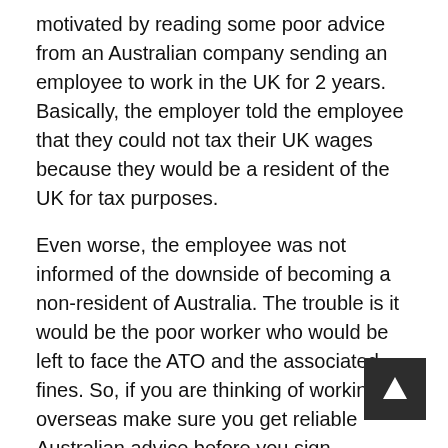motivated by reading some poor advice from an Australian company sending an employee to work in the UK for 2 years. Basically, the employer told the employee that they could not tax their UK wages because they would be a resident of the UK for tax purposes.
Even worse, the employee was not informed of the downside of becoming a non-resident of Australia. The trouble is it would be the poor worker who would be left to face the ATO and the associated fines. So, if you are thinking of working overseas make sure you get reliable Australian advice before you sign anything. Some key points.
It is all about the “centre of vital interests” question. This comes from our double tax agreements, which are pretty similar in this regard. Here is an extract from the UK one:
http://www.austlii.edu.au/au/other/dfat/treaties/2003/22.html